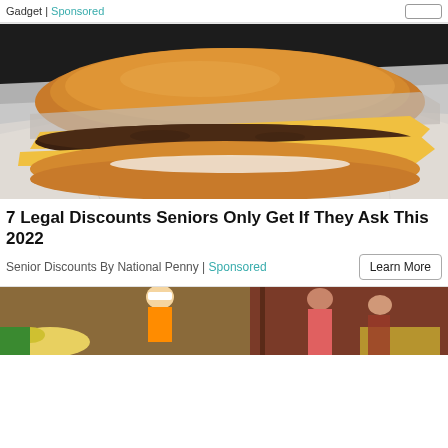Gadget | Sponsored
[Figure (photo): A cheeseburger wrapped in silver foil on a crinkled foil surface, showing two beef patties, melted yellow cheese, and a brioche bun]
7 Legal Discounts Seniors Only Get If They Ask This 2022
Senior Discounts By National Penny | Sponsored
[Figure (photo): People outdoors, appears to show workers or community members with yellow items, partial view at bottom of page]